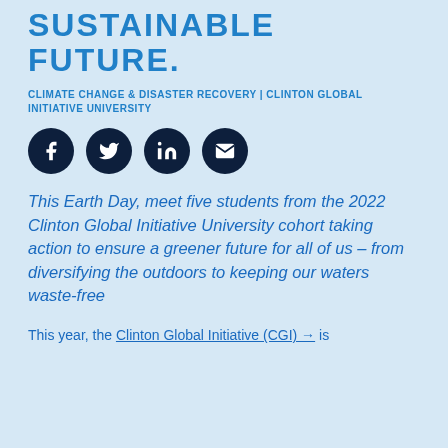SUSTAINABLE FUTURE.
CLIMATE CHANGE & DISASTER RECOVERY | CLINTON GLOBAL INITIATIVE UNIVERSITY
[Figure (infographic): Four dark navy circular social media share icons in a row: Facebook, Twitter, LinkedIn, Email/envelope]
This Earth Day, meet five students from the 2022 Clinton Global Initiative University cohort taking action to ensure a greener future for all of us – from diversifying the outdoors to keeping our waters waste-free
This year, the Clinton Global Initiative (CGI) → is